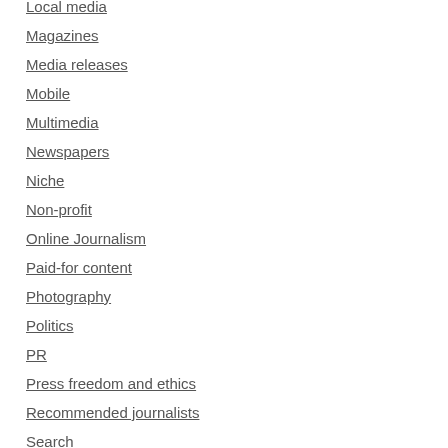Local media
Magazines
Media releases
Mobile
Multimedia
Newspapers
Niche
Non-profit
Online Journalism
Paid-for content
Photography
Politics
PR
Press freedom and ethics
Recommended journalists
Search
Social media and blogging
Tool of the Week
Traffic